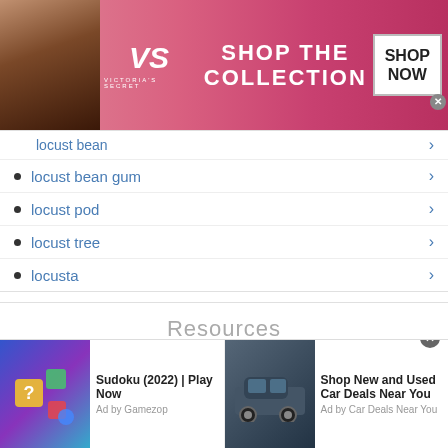[Figure (photo): Victoria's Secret advertisement banner with model and 'SHOP THE COLLECTION / SHOP NOW' text]
locust bean
locust bean gum
locust pod
locust tree
locusta
Resources
LOCUST synonyms at Thesaurus.com
LOCUST synonyms and antonyms - Merriam-Webster dictionary
Powerthesaurus.org - LOCUST synonyms
[Figure (photo): Bottom advertisement bar with Sudoku game ad and Car Deals ad]